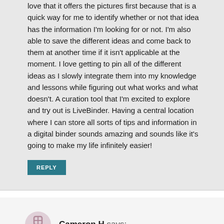love that it offers the pictures first because that is a quick way for me to identify whether or not that idea has the information I'm looking for or not. I'm also able to save the different ideas and come back to them at another time if it isn't applicable at the moment. I love getting to pin all of the different ideas as I slowly integrate them into my knowledge and lessons while figuring out what works and what doesn't. A curation tool that I'm excited to explore and try out is LiveBinder. Having a central location where I can store all sorts of tips and information in a digital binder sounds amazing and sounds like it's going to make my life infinitely easier!
REPLY
Cameron H says:
November 1, 2021 at 10:10 am